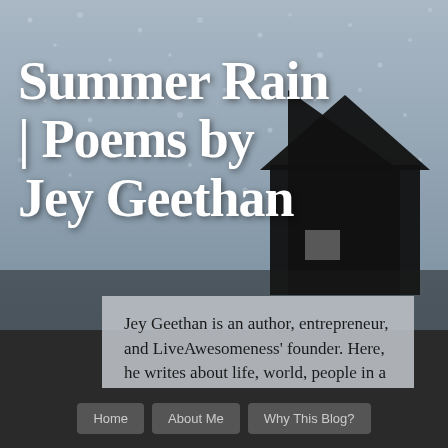[Figure (photo): Rainy window with raindrops on glass and a dark house silhouette in the background, gray-blue tones]
Summer Rain | Poems by Jey Geethan
Jey Geethan is an author, entrepreneur, and LiveAwesomeness' founder. Here, he writes about life, world, people in a poetical way. He is "a passionate guy, with a simple heart."
Home   About Me   Why This Blog?